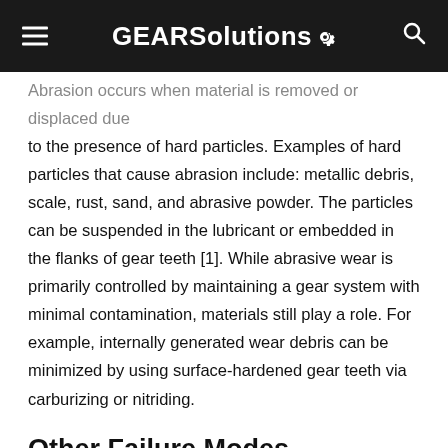GEARSolutions
Abrasion occurs when material is removed or displaced due to the presence of hard particles. Examples of hard particles that cause abrasion include: metallic debris, scale, rust, sand, and abrasive powder. The particles can be suspended in the lubricant or embedded in the flanks of gear teeth [1]. While abrasive wear is primarily controlled by maintaining a gear system with minimal contamination, materials still play a role. For example, internally generated wear debris can be minimized by using surface-hardened gear teeth via carburizing or nitriding.
Other Failure Modes
Macropitting due to Hertzian fatigue contact stress, in which cracks initiate at the surface or subsurface of the gear tooth, is another common failure mode in gears [2]. The combined